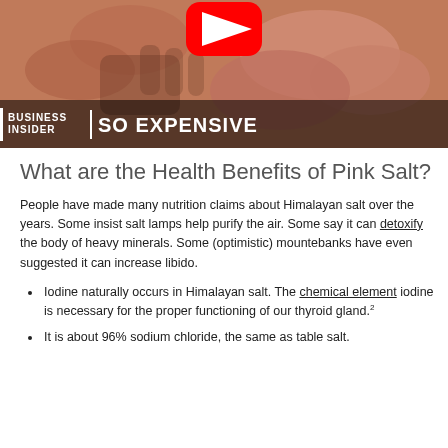[Figure (screenshot): Business Insider 'So Expensive' video thumbnail showing pink Himalayan salt chunks with a YouTube play button icon overlay]
What are the Health Benefits of Pink Salt?
People have made many nutrition claims about Himalayan salt over the years. Some insist salt lamps help purify the air. Some say it can detoxify the body of heavy minerals. Some (optimistic) mountebanks have even suggested it can increase libido.
Iodine naturally occurs in Himalayan salt. The chemical element iodine is necessary for the proper functioning of our thyroid gland.²
It is about 96% sodium chloride, the same as table salt. This has been shown in studies that the two are bad for health...